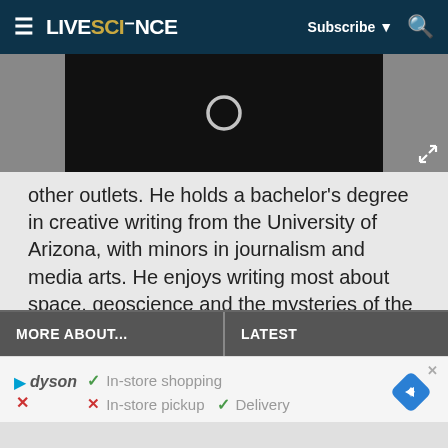LIVESCIENCE — Subscribe — Search
[Figure (screenshot): Black video player area with loading spinner circle in center and fullscreen expand icon at bottom right]
other outlets. He holds a bachelor's degree in creative writing from the University of Arizona, with minors in journalism and media arts. He enjoys writing most about space, geoscience and the mysteries of the universe.
MORE ABOUT...
LATEST
[Figure (infographic): Dyson advertisement showing Dyson logo with play icon, In-store shopping (checkmark), In-store pickup (X), Delivery (checkmark), and a blue navigation/direction diamond icon on the right]